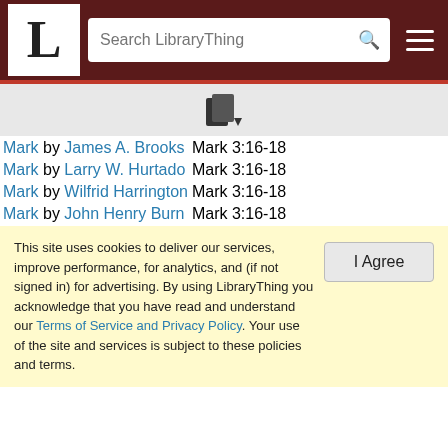LibraryThing header with logo, search bar, and menu
| Book | Reference |
| --- | --- |
| Mark by James A. Brooks | Mark 3:16-18 |
| Mark by Larry W. Hurtado | Mark 3:16-18 |
| Mark by Wilfrid Harrington | Mark 3:16-18 |
| Mark by John Henry Burn | Mark 3:16-18 |
This site uses cookies to deliver our services, improve performance, for analytics, and (if not signed in) for advertising. By using LibraryThing you acknowledge that you have read and understand our Terms of Service and Privacy Policy. Your use of the site and services is subject to these policies and terms.